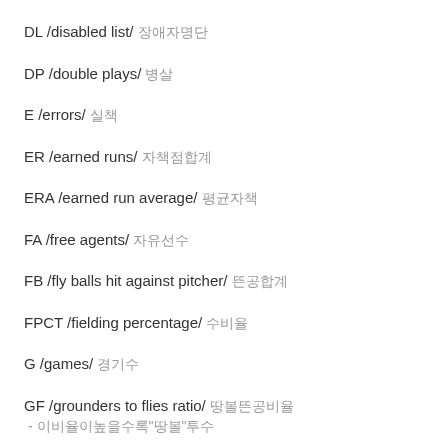DL /disabled list/ 장애자명단
DP /double plays/ 병살
E /errors/ 실책
ER /earned runs/ 자책점합계
ERA /earned run average/ 평균자책
FA /free agents/ 자유선수
FB /fly balls hit against pitcher/ 뜬공합계
FPCT /fielding percentage/ 수비율
G /games/ 경기수
GF /grounders to flies ratio/ 땅볼뜬공비율
 - 이비율이높을수록"땅볼"투수